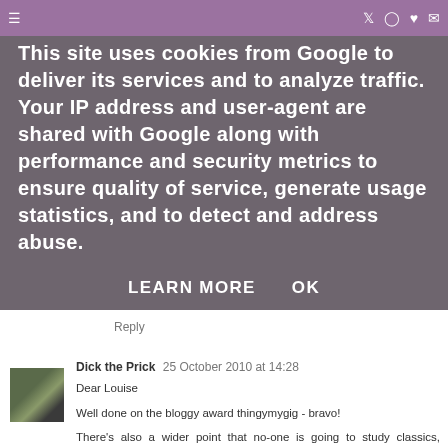[menu icon] [twitter icon] [instagram icon] [heart icon] [email icon]
This site uses cookies from Google to deliver its services and to analyze traffic. Your IP address and user-agent are shared with Google along with performance and security metrics to ensure quality of service, generate usage statistics, and to detect and address abuse.
LEARN MORE    OK
Reply
Dick the Prick  25 October 2010 at 14:28
Dear Louise

Well done on the bloggy award thingymygig - bravo!

There's also a wider point that no-one is going to study classics, English Lit, history (of any variety) music (have a chum who now plays in the Vienna Phil) art, anything, really, except maths, some fake business qualification, physics, medicine etc.

This policy will destroy learning as heartfelt, as a calling, as fun.

Well done again

DtP